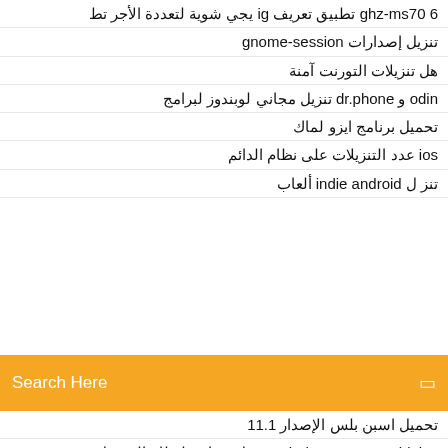6 ghz-ms70 تطبيق تعريف ig يجي شوية لتعددة الأجر تط
تنزيل إصدارات gnome-session
هل تنزيلات التورنت آمنة
odin و dr.phone تنزيل مجاني لوبندوز لبرامج
تحميل برنامج ايزو لماك
ios عدد التنزيلات على نظام الدائم
تنزل لـ indie android ألعاب
[Figure (other): Orange search bar with text 'Search Here' and a small square icon on the right]
تحميل اسبن بلس الإصدار 11.1
windows 7 pro 32 bit iso تحميل مجاني لنظام التشغيل
windows 10 الطلاء الكلاسيكي لنظام التشغيل
تنزيل وكيل المنزل 10 في ويندوز فيربزون
تنزيل hevletica مجانًا
Far cry 4 تحميل مجاني النسخة الكاملة للكمبيوتر
Stokley البوم تحميل قناع التزلج
مكان وضع برامج التشغيل التي تم تنزيلها
تنزيل إعدادات جوجل لنظام أندرويد
أنت تنتمي معي تنزيل إصدار الراديو